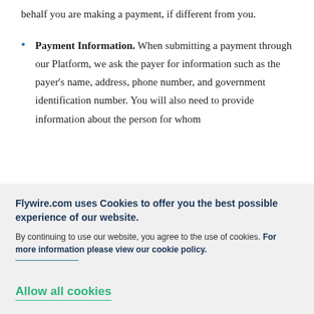behalf you are making a payment, if different from you.
Payment Information. When submitting a payment through our Platform, we ask the payer for information such as the payer's name, address, phone number, and government identification number. You will also need to provide information about the person for whom
Flywire.com uses Cookies to offer you the best possible experience of our website.
By continuing to use our website, you agree to the use of cookies. For more information please view our cookie policy.
Allow all cookies